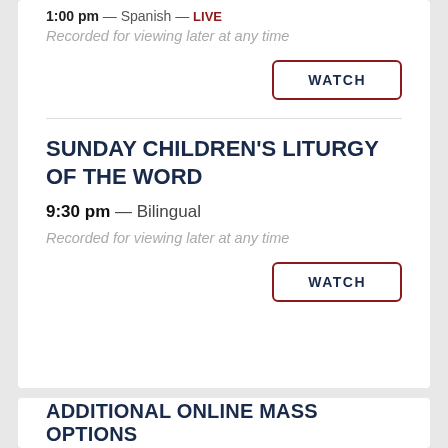1:00 pm — Spanish — LIVE
Recorded for viewing later at any time
WATCH
SUNDAY CHILDREN'S LITURGY OF THE WORD
9:30 pm — Bilingual
Recorded for viewing later at any time
WATCH
ADDITIONAL ONLINE MASS OPTIONS